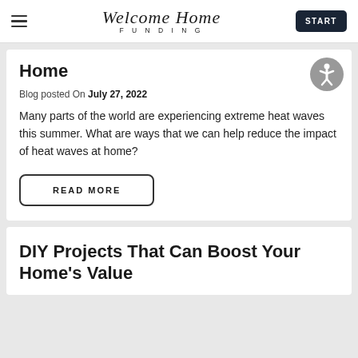Welcome Home FUNDING | START
Home
Blog posted On July 27, 2022
Many parts of the world are experiencing extreme heat waves this summer. What are ways that we can help reduce the impact of heat waves at home?
READ MORE
DIY Projects That Can Boost Your Home's Value